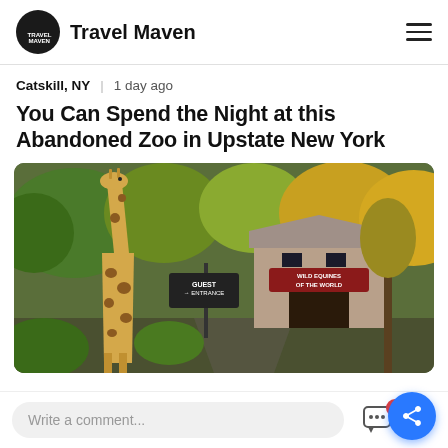Travel Maven
Catskill, NY | 1 day ago
You Can Spend the Night at this Abandoned Zoo in Upstate New York
[Figure (photo): Photo of an abandoned zoo entrance with a large giraffe statue/cutout on the left, a sign reading 'GUEST ENTRANCE' with an arrow, and a barn-style building in the background with a sign reading 'WILD EQUINES OF THE WORLD', surrounded by autumn trees.]